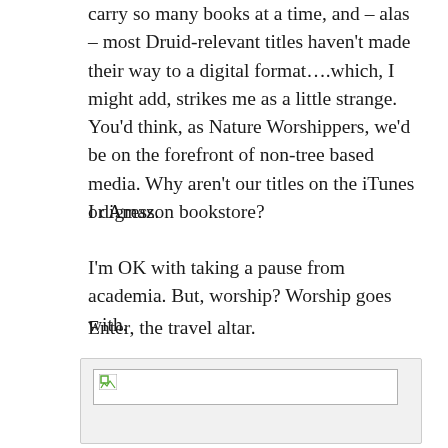carry so many books at a time, and – alas – most Druid-relevant titles haven't made their way to a digital format….which, I might add, strikes me as a little strange. You'd think, as Nature Worshippers, we'd be on the forefront of non-tree based media. Why aren't our titles on the iTunes or Amazon bookstore?
I digress.
I'm OK with taking a pause from academia. But, worship? Worship goes with.
Enter, the travel altar.
[Figure (photo): A placeholder/broken image box with a small broken image icon in the top-left corner, set inside a light gray bordered container.]